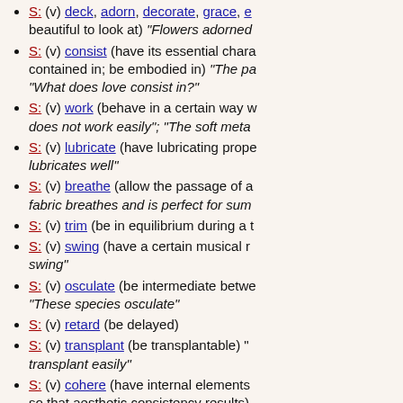S: (v) deck, adorn, decorate, grace, e... beautiful to look at) "Flowers adorned..."
S: (v) consist (have its essential chara... contained in; be embodied in) "The pa... "What does love consist in?"
S: (v) work (behave in a certain way w... does not work easily"; "The soft meta...
S: (v) lubricate (have lubricating prope... lubricates well"
S: (v) breathe (allow the passage of a... fabric breathes and is perfect for sum...
S: (v) trim (be in equilibrium during a t...
S: (v) swing (have a certain musical r... swing"
S: (v) osculate (be intermediate betwe... "These species osculate"
S: (v) retard (be delayed)
S: (v) transplant (be transplantable) "... transplant easily"
S: (v) cohere (have internal elements... so that aesthetic consistency results)... societies cohere"
S: (v) object (be averse to or express... objects to modern furniture"
S: (v) stick (be or become fixed) "The...